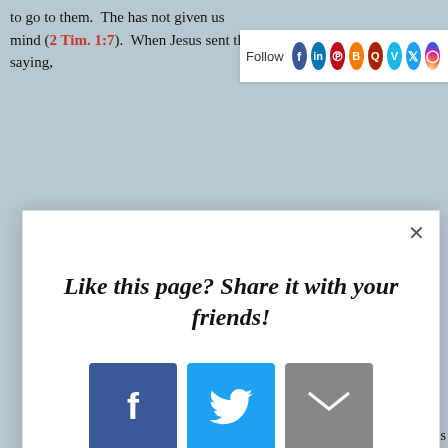to go to them. has not given us mind (2 Tim. 1:7). When Jesus sent the apostles, He assured them saying,
[Figure (screenshot): Follow bar with social media icons: Facebook, LinkedIn, Pinterest, Blogger, Quora, Vimeo, Twitter, Instagram]
[Figure (infographic): Modal popup: 'Like this page? Share it with your friends!' with share buttons for Facebook, Twitter, Email, Pinterest, LinkedIn, Blogger, and a + button. AddThis branding at bottom right.]